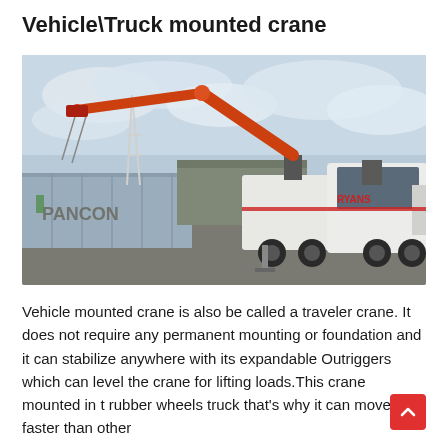Vehicle\Truck mounted crane
[Figure (photo): A truck-mounted crane (knuckle boom / articulated crane) in a yard, with a red articulating crane arm extended upward and to the left. The white heavy truck has 'RYANS' branding. A grey shipping container labeled 'PANCON' is visible on the left. Cloudy sky background.]
Vehicle mounted crane is also be called a traveler crane. It does not require any permanent mounting or foundation and it can stabilize anywhere with its expandable Outriggers which can level the crane for lifting loads.This crane mounted in t rubber wheels truck that's why it can move faster than other